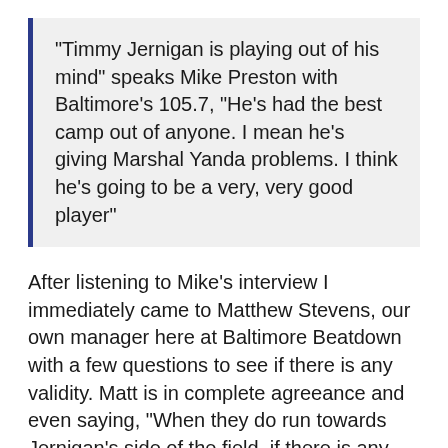"Timmy Jernigan is playing out of his mind" speaks Mike Preston with Baltimore's 105.7, "He's had the best camp out of anyone. I mean he's giving Marshal Yanda problems. I think he's going to be a very, very good player"
After listening to Mike's interview I immediately came to Matthew Stevens, our own manager here at Baltimore Beatdown with a few questions to see if there is any validity. Matt is in complete agreeance and even saying, "When they do run towards Jernigan's side of the field, if there is any gain on the play it's two-yards maximum. Timmy has pushed Yanda into the backfield more than once."